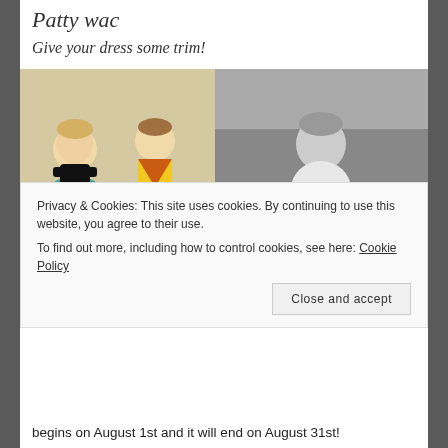Patty wac
Give your dress some trim!
[Figure (photo): Two vintage 1950s fashion illustrations showing women in full-skirted dresses with decorative trim, alongside a black-and-white photograph of a young woman in a white full-skirted dress]
Privacy & Cookies: This site uses cookies. By continuing to use this website, you agree to their use.
To find out more, including how to control cookies, see here: Cookie Policy
Close and accept
begins on August 1st and it will end on August 31st!